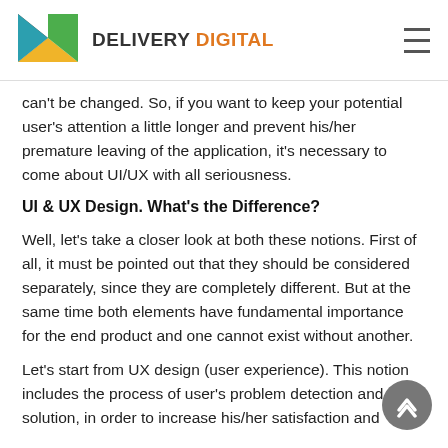DELIVERY DIGITAL
can't be changed. So, if you want to keep your potential user's attention a little longer and prevent his/her premature leaving of the application, it's necessary to come about UI/UX with all seriousness.
UI & UX Design. What's the Difference?
Well, let's take a closer look at both these notions. First of all, it must be pointed out that they should be considered separately, since they are completely different. But at the same time both elements have fundamental importance for the end product and one cannot exist without another.
Let's start from UX design (user experience). This notion includes the process of user's problem detection and solution, in order to increase his/her satisfaction and